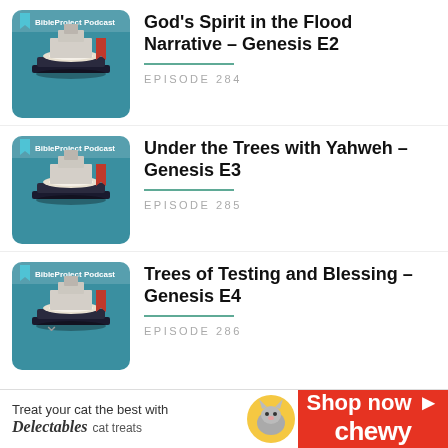[Figure (screenshot): BibleProject Podcast thumbnail showing layered book/temple illustration on teal background]
God's Spirit in the Flood Narrative – Genesis E2
EPISODE 284
[Figure (screenshot): BibleProject Podcast thumbnail showing layered book/temple illustration on teal background]
Under the Trees with Yahweh – Genesis E3
EPISODE 285
[Figure (screenshot): BibleProject Podcast thumbnail showing layered book/temple illustration on teal background]
Trees of Testing and Blessing – Genesis E4
EPISODE 286
[Figure (infographic): Advertisement banner: Treat your cat the best with Delectables cat treats — Shop now Chewy]